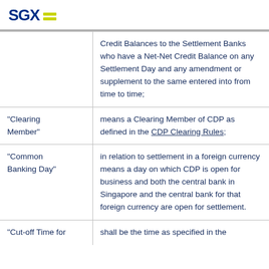SGX
|  | Credit Balances to the Settlement Banks who have a Net-Net Credit Balance on any Settlement Day and any amendment or supplement to the same entered into from time to time; |
| "Clearing Member" | means a Clearing Member of CDP as defined in the CDP Clearing Rules; |
| "Common Banking Day" | in relation to settlement in a foreign currency means a day on which CDP is open for business and both the central bank in Singapore and the central bank for that foreign currency are open for settlement. |
| "Cut-off Time for | shall be the time as specified in the |